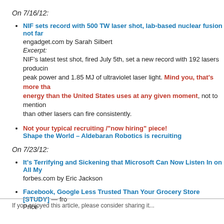On 7/16/12:
NIF sets record with 500 TW laser shot, lab-based nuclear fusion not far
engadget.com by Sarah Silbert
Excerpt:
NIF's latest test shot, fired July 5th, set a new record with 192 lasers producing peak power and 1.85 MJ of ultraviolet laser light. Mind you, that's more than energy than the United States uses at any given moment, not to mention than other lasers can fire consistently.
Not your typical recruiting /"now hiring" piece!
Shape the World – Aldebaran Robotics is recruiting
On 7/23/12:
It's Terrifying and Sickening that Microsoft Can Now Listen In on All My
forbes.com by Eric Jackson
Facebook, Google Less Trusted Than Your Grocery Store [STUDY] — fro
Price
If you enjoyed this article, please consider sharing it...